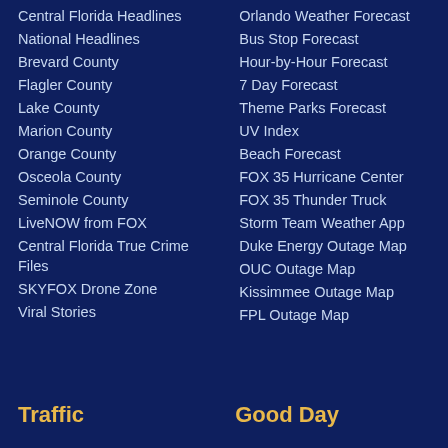Central Florida Headlines
National Headlines
Brevard County
Flagler County
Lake County
Marion County
Orange County
Osceola County
Seminole County
LiveNOW from FOX
Central Florida True Crime Files
SKYFOX Drone Zone
Viral Stories
Orlando Weather Forecast
Bus Stop Forecast
Hour-by-Hour Forecast
7 Day Forecast
Theme Parks Forecast
UV Index
Beach Forecast
FOX 35 Hurricane Center
FOX 35 Thunder Truck
Storm Team Weather App
Duke Energy Outage Map
OUC Outage Map
Kissimmee Outage Map
FPL Outage Map
Traffic
Good Day